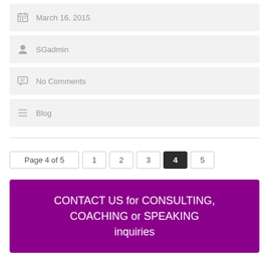March 16, 2015
SGadmin
No Comments
Blog
Page 4 of 5  1  2  3  4  5
CONTACT US for CONSULTING, COACHING or SPEAKING inquiries